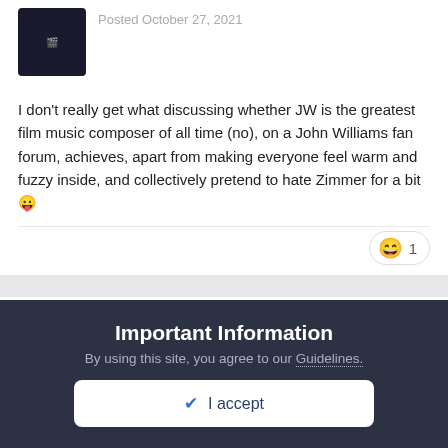Posted October 27, 2021
I don't really get what discussing whether JW is the greatest film music composer of all time (no), on a John Williams fan forum, achieves, apart from making everyone feel warm and fuzzy inside, and collectively pretend to hate Zimmer for a bit 😛
😄 1
Jurassic Shark  🔵 8,706
Posted October 27, 2021
No need to pretend!
Important Information
By using this site, you agree to our Guidelines.
✔ I accept